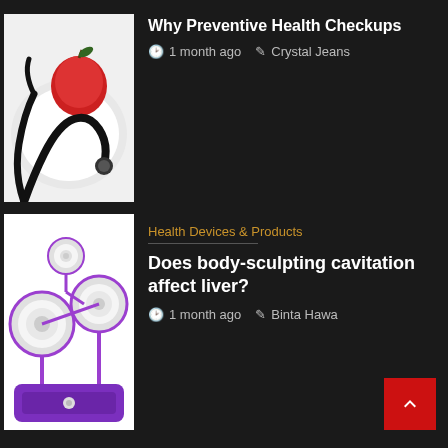[Figure (photo): Photo of a red apple and a stethoscope on a white background]
Why Preventive Health Checkups
1 month ago   Crystal Jeans
[Figure (photo): Photo of body-sculpting cavitation device with purple and white components on white background]
Health Devices & Products
Does body-sculpting cavitation affect liver?
1 month ago   Binta Hawa